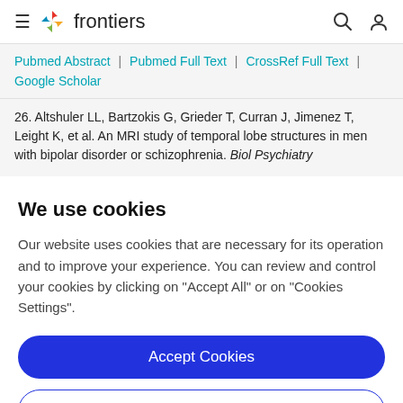frontiers
Pubmed Abstract | Pubmed Full Text | CrossRef Full Text | Google Scholar
26. Altshuler LL, Bartzokis G, Grieder T, Curran J, Jimenez T, Leight K, et al. An MRI study of temporal lobe structures in men with bipolar disorder or schizophrenia. Biol Psychiatry
We use cookies
Our website uses cookies that are necessary for its operation and to improve your experience. You can review and control your cookies by clicking on "Accept All" or on "Cookies Settings".
Accept Cookies
Cookies Settings